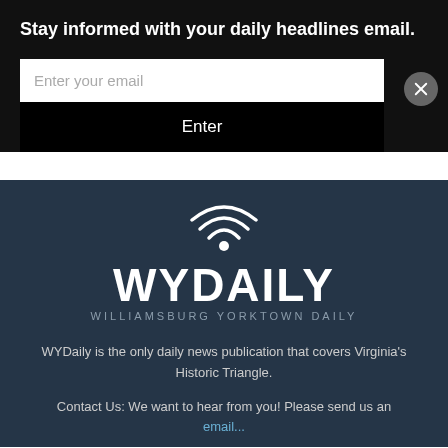Stay informed with your daily headlines email.
Enter your email
Enter
[Figure (logo): WYDaily logo with wifi/signal icon above the text WYDAILY and subtitle WILLIAMSBURG YORKTOWN DAILY]
WYDaily is the only daily news publication that covers Virginia's Historic Triangle.
Contact Us: We want to hear from you! Please send us an email...